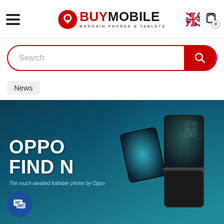BuyMobile - Bargain Phones & Tablets
Search
News
[Figure (photo): OPPO Find N foldable phone advertisement banner on dark teal background, showing the folded device with 'OPPO FIND N' text and subtitle 'The much-awaited foldable phone by Oppo']